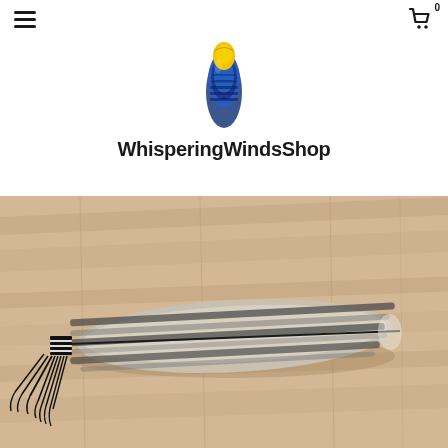WhisperingWindsShop — navigation header with hamburger menu and cart icon (0 items)
[Figure (logo): WhisperingWindsShop logo: a stylized feather with yellow tip and blue patterned body]
WhisperingWindsShop
[Figure (photo): A large barred feather (likely turkey or hawk) with black and white striped pattern, laid on a light wood floor. The quill end is wrapped with black and white thread and has black leather fringe hanging from it.]